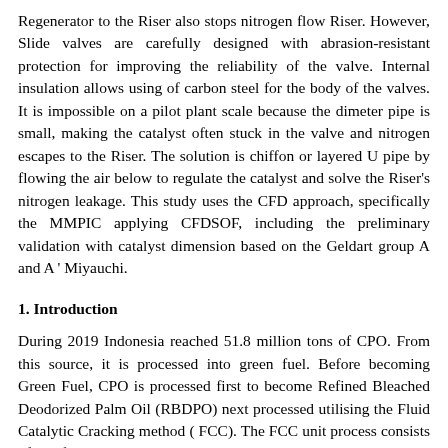Regenerator to the Riser also stops nitrogen flow Riser. However, Slide valves are carefully designed with abrasion-resistant protection for improving the reliability of the valve. Internal insulation allows using of carbon steel for the body of the valves. It is impossible on a pilot plant scale because the dimeter pipe is small, making the catalyst often stuck in the valve and nitrogen escapes to the Riser. The solution is chiffon or layered U pipe by flowing the air below to regulate the catalyst and solve the Riser's nitrogen leakage. This study uses the CFD approach, specifically the MMPIC applying CFDSOF, including the preliminary validation with catalyst dimension based on the Geldart group A and A ' Miyauchi.
1. Introduction
During 2019 Indonesia reached 51.8 million tons of CPO. From this source, it is processed into green fuel. Before becoming Green Fuel, CPO is processed first to become Refined Bleached Deodorized Palm Oil (RBDPO) next processed utilising the Fluid Catalytic Cracking method ( FCC). The FCC unit process consists of the feed injection system, Riser, riser outlet separator system, disengager/stripper, regenerator, catalyst cooler (optional), catalyst withdrawal well, catalyst transfer lines, and control systems. The main processing products for RBDPO using the FCC are Gasoline, LCO (light cycle